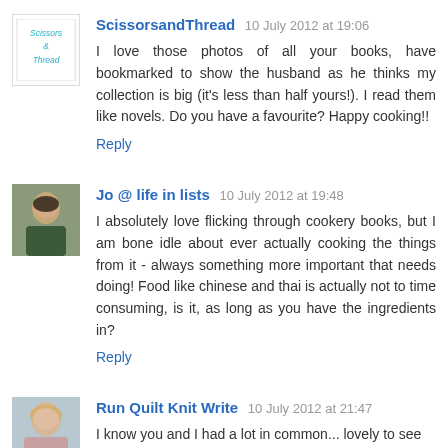[Figure (logo): ScissorsandThread blog avatar with text 'Scissors & Thread' in teal italic font]
ScissorsandThread 10 July 2012 at 19:06
I love those photos of all your books, have bookmarked to show the husband as he thinks my collection is big (it's less than half yours!). I read them like novels. Do you have a favourite? Happy cooking!!
Reply
[Figure (photo): Avatar photo of Jo, a person in dark clothing]
Jo @ life in lists 10 July 2012 at 19:48
I absolutely love flicking through cookery books, but I am bone idle about ever actually cooking the things from it - always something more important that needs doing! Food like chinese and thai is actually not to time consuming, is it, as long as you have the ingredients in?
Reply
[Figure (photo): Avatar photo of Run Quilt Knit Write, a person with blonde hair]
Run Quilt Knit Write 10 July 2012 at 21:47
I know you and I had a lot in common... lovely to see